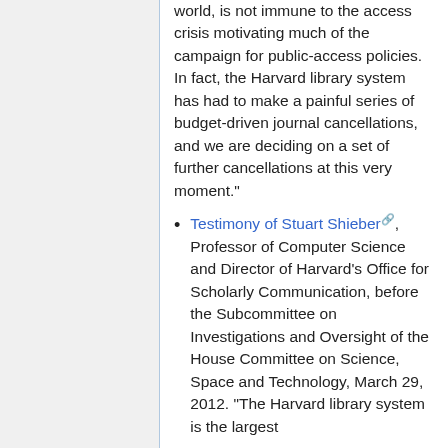world, is not immune to the access crisis motivating much of the campaign for public-access policies. In fact, the Harvard library system has had to make a painful series of budget-driven journal cancellations, and we are deciding on a set of further cancellations at this very moment."
Testimony of Stuart Shieber, Professor of Computer Science and Director of Harvard's Office for Scholarly Communication, before the Subcommittee on Investigations and Oversight of the House Committee on Science, Space and Technology, March 29, 2012. "The Harvard library system is the largest academic library in the world...